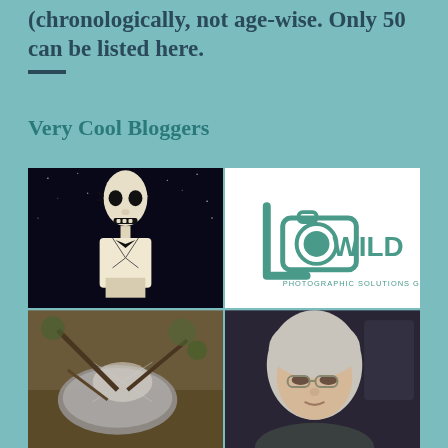(chronologically, not age-wise. Only 50 can be listed here.
Very Cool Bloggers
[Figure (photo): Skeleton character (Lego/animated style) dressed in a tuxedo, in front of a starry night background]
[Figure (logo): Wild Photographic Solutions Group logo — teal camera icon with the word WILD and subtitle PHOTOGRAPHIC SOLUTIONS GROUP]
[Figure (photo): Close-up nature photo of what appears to be a spider web or cocoon on branches]
[Figure (photo): Portrait photo of an elderly woman with silver/white hair and glasses]